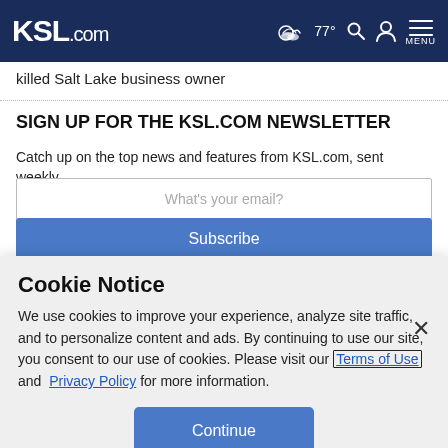KSL.com   77°  MENU
killed Salt Lake business owner
SIGN UP FOR THE KSL.COM NEWSLETTER
Catch up on the top news and features from KSL.com, sent weekly.
What's your email?
Subscribe
Cookie Notice
We use cookies to improve your experience, analyze site traffic, and to personalize content and ads. By continuing to use our site, you consent to our use of cookies. Please visit our Terms of Use and  Privacy Policy for more information.
Continue